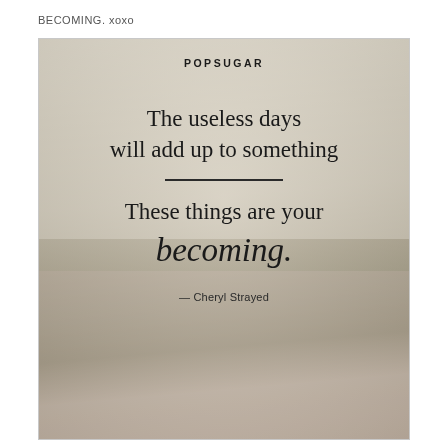BECOMING. xoxo
[Figure (illustration): Quote card with blurred floral background featuring soft pink flowers and muted green-beige tones. The card has a light border, POPSUGAR brand name at top, a two-part quote by Cheryl Strayed reading 'The useless days will add up to something — These things are your becoming.' with a horizontal divider between the two parts, and attribution '— Cheryl Strayed' below.]